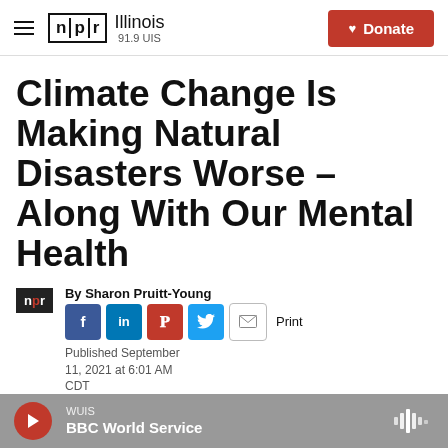NPR Illinois 91.9 UIS | Donate
Climate Change Is Making Natural Disasters Worse – Along With Our Mental Health
By Sharon Pruitt-Young
Published September 11, 2021 at 6:01 AM CDT
WUIS BBC World Service